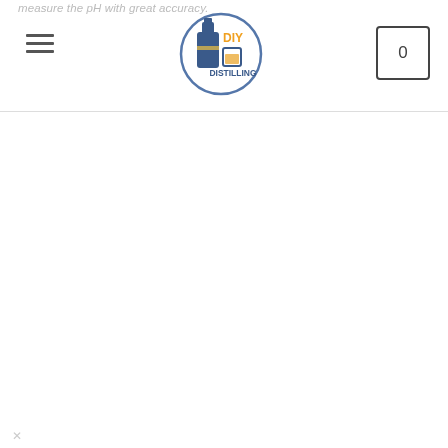measure the pH with great accuracy. DIY DISTILLING [logo] [hamburger menu] [cart: 0]